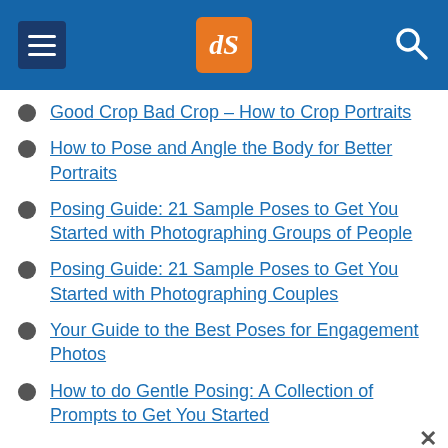dPS (digital photography school) navigation header
Good Crop Bad Crop – How to Crop Portraits
How to Pose and Angle the Body for Better Portraits
Posing Guide: 21 Sample Poses to Get You Started with Photographing Groups of People
Posing Guide: 21 Sample Poses to Get You Started with Photographing Couples
Your Guide to the Best Poses for Engagement Photos
How to do Gentle Posing: A Collection of Prompts to Get You Started